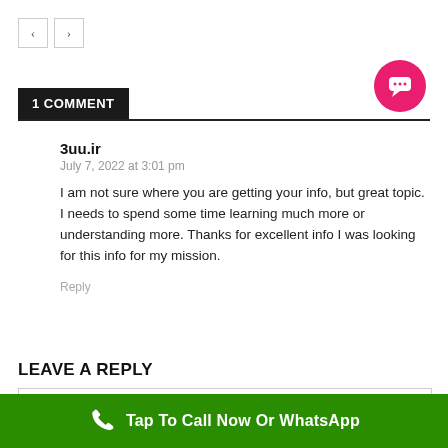[Figure (other): Navigation previous and next arrow buttons]
[Figure (other): Pink/red circular chat bubble icon with ellipsis dots]
1 COMMENT
3uu.ir
July 7, 2022 at 3:01 pm
I am not sure where you are getting your info, but great topic. I needs to spend some time learning much more or understanding more. Thanks for excellent info I was looking for this info for my mission.
Reply
LEAVE A REPLY
[Figure (other): Green CTA bar with phone icon and text: Tap To Call Now Or WhatsApp]